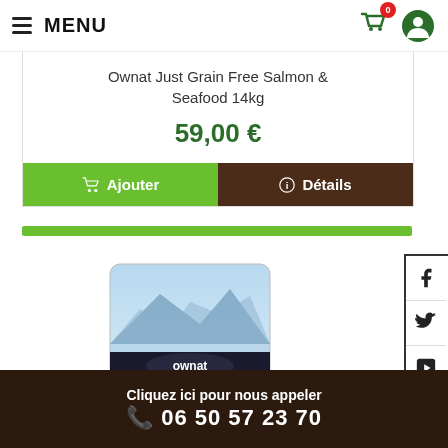MENU
Ownat Just Grain Free Salmon & Seafood 14kg
59,00 €
Ajouter
Détails
[Figure (photo): Ownat Grain Free dog food product bag (14kg), featuring salmon & seafood flavour with snowy mountain lake background.]
Cliquez ici pour nous appeler 06 50 57 23 70